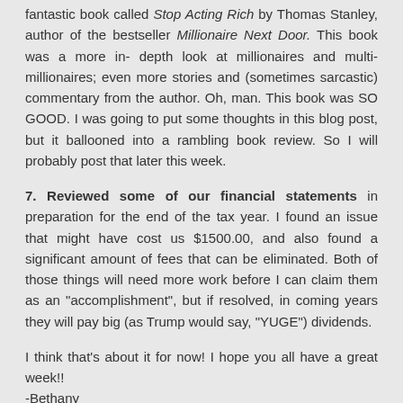fantastic book called Stop Acting Rich by Thomas Stanley, author of the bestseller Millionaire Next Door. This book was a more in-depth look at millionaires and multi-millionaires; even more stories and (sometimes sarcastic) commentary from the author. Oh, man. This book was SO GOOD. I was going to put some thoughts in this blog post, but it ballooned into a rambling book review. So I will probably post that later this week.
7. Reviewed some of our financial statements in preparation for the end of the tax year. I found an issue that might have cost us $1500.00, and also found a significant amount of fees that can be eliminated. Both of those things will need more work before I can claim them as an "accomplishment", but if resolved, in coming years they will pay big (as Trump would say, "YUGE") dividends.
I think that's about it for now! I hope you all have a great week!! -Bethany
[Figure (other): Blue Tweet button with Twitter bird icon]